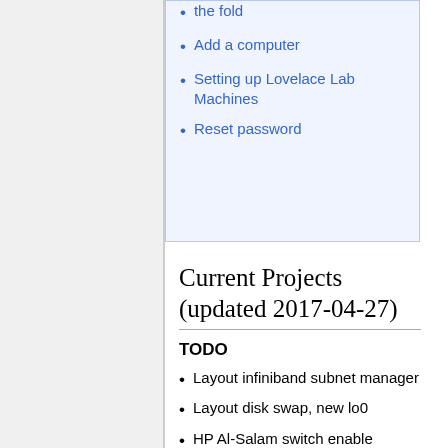the fold
Add a computer
Setting up Lovelace Lab Machines
Reset password
Current Projects (updated 2017-04-27)
TODO
Layout infiniband subnet manager
Layout disk swap, new lo0
HP Al-Salam switch enable jumboframes